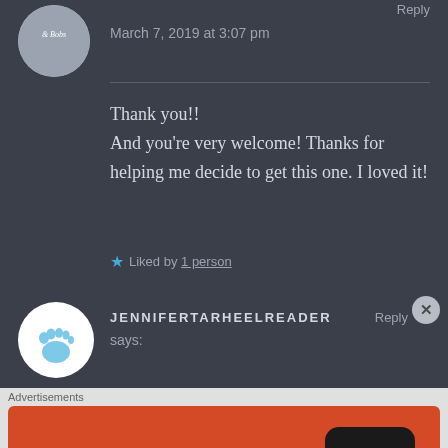March 7, 2019 at 3:07 pm
Thank you!!
And you're very welcome! Thanks for helping me decide to get this one. I loved it!
Liked by 1 person
JENNIFERTARHEELREADER says:
[Figure (other): DuckDuckGo advertisement banner: Search, browse, and email with more privacy. All in One Free App.]